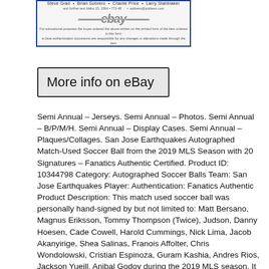[Figure (screenshot): eBay listing image showing names Steve Grad, Brian Sobrero, Charlie Price, Larry Stahbiaker with eBay logo watermark and small disclaimer text]
[Figure (screenshot): More info on eBay button — grey rectangular button with black border]
Semi Annual – Jerseys. Semi Annual – Photos. Semi Annual – B/P/M/H. Semi Annual – Display Cases. Semi Annual – Plaques/Collages. San Jose Earthquakes Autographed Match-Used Soccer Ball from the 2019 MLS Season with 20 Signatures – Fanatics Authentic Certified. Product ID: 10344798 Category: Autographed Soccer Balls Team: San Jose Earthquakes Player: Authentication: Fanatics Authentic Product Description: This match used soccer ball was personally hand-signed by but not limited to: Matt Bersano, Magnus Eriksson, Tommy Thompson (Twice), Judson, Danny Hoesen, Cade Cowell, Harold Cummings, Nick Lima, Jacob Akanyirige, Shea Salinas, Franois Affolter, Chris Wondolowski, Cristian Espinoza, Guram Kashia, Andres Rios, Jackson Yueill, Anibal Godoy during the 2019 MLS season. It is officially licensed by Major League Soccer and comes with a certificate of authenticity and hologram from Fanatics Authentic. To ensure authenticity, the item can be verified online using the Certificate of Authenticity's unique alpha-